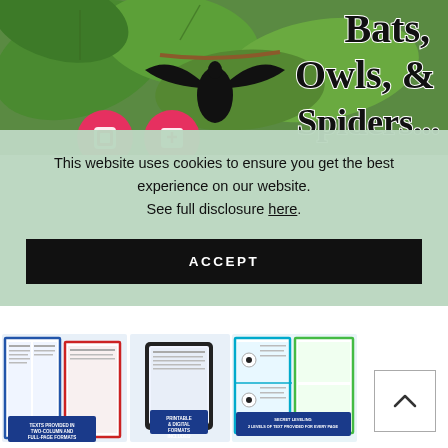[Figure (photo): Top portion of an educational product cover showing a bat hanging from a fig tree branch with large green leaves. Overlaid handwritten-style script text reading 'Bats, Owls, & Spiders' is visible on the right side. Two circular social share icons visible at bottom left.]
This website uses cookies to ensure you get the best experience on our website.
See full disclosure here.
ACCEPT
[Figure (photo): Bottom portion showing a composite image of educational reading passages/worksheets. Three panels visible: left panel shows texts in two-column and full-page formats with a red/blue/green border design; center panel shows a tablet device displaying a passage; right panel shows leveled reading cards with text 'Secret Leveling: 2 Levels of Text Provided for Every Passage'. Labels at bottom read: 'Texts Provided in Two-Column and Full-Page Formats', 'Printable & Digital Formats Included', 'Secret Leveling 2 Levels of Text Provided for Every Page'.]